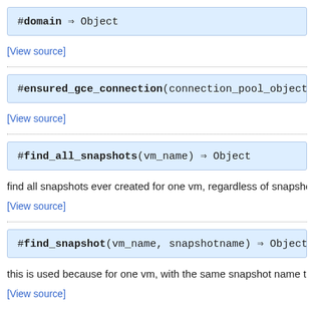#domain ⇒ Object
[View source]
#ensured_gce_connection(connection_pool_object) ⇒
[View source]
#find_all_snapshots(vm_name) ⇒ Object
find all snapshots ever created for one vm, regardless of snapshots
[View source]
#find_snapshot(vm_name, snapshotname) ⇒ Object
this is used because for one vm, with the same snapshot name th
[View source]